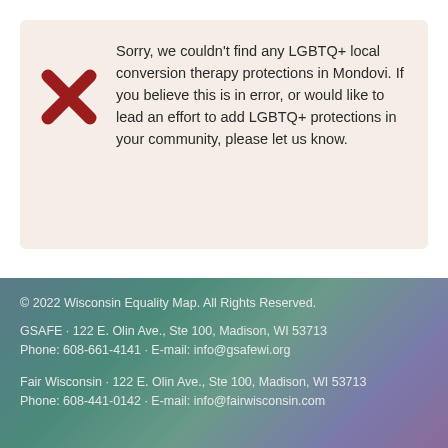Sorry, we couldn't find any LGBTQ+ local conversion therapy protections in Mondovi. If you believe this is in error, or would like to lead an effort to add LGBTQ+ protections in your community, please let us know.
© 2022 Wisconsin Equality Map. All Rights Reserved.
GSAFE · 122 E. Olin Ave., Ste 100, Madison, WI 53713
Phone: 608-661-4141 · E-mail: info@gsafewi.org
Fair Wisconsin · 122 E. Olin Ave., Ste 100, Madison, WI 53713
Phone: 608-441-0142 · E-mail: info@fairwisconsin.com